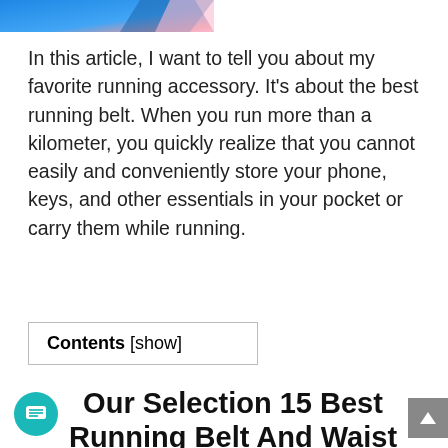[Figure (photo): Partial header image with blue and pink gradient colors, cropped at top of page]
In this article, I want to tell you about my favorite running accessory. It's about the best running belt. When you run more than a kilometer, you quickly realize that you cannot easily and conveniently store your phone, keys, and other essentials in your pocket or carry them while running.
Contents [show]
Our Selection 15 Best Running Belt And Waist